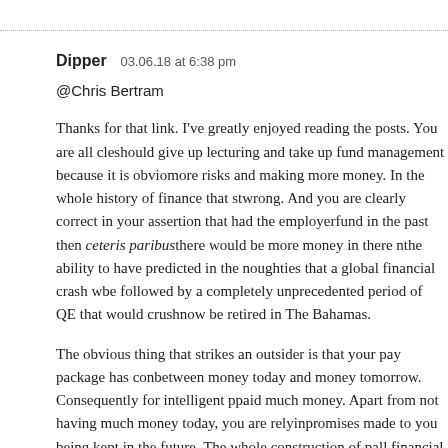Dipper   03.06.18 at 6:38 pm
@Chris Bertram
Thanks for that link. I've greatly enjoyed reading the posts. You are all cle... should give up lecturing and take up fund management because it is obvio... more risks and making more money. In the whole history of finance that st... wrong. And you are clearly correct in your assertion that had the employer... fund in the past then ceteris paribus there would be more money in there n... the ability to have predicted in the noughties that a global financial crash w... be followed by a completely unprecedented period of QE that would crush... now be retired in The Bahamas.
The obvious thing that strikes an outsider is that your pay package has con... between money today and money tomorrow. Consequently for intelligent p... paid much money. Apart from not having much money today, you are relyin... promises made to you being kept in the future. The whole construction of p... all financial mathematics, is based round the fact that when it comes to mo... their promises.